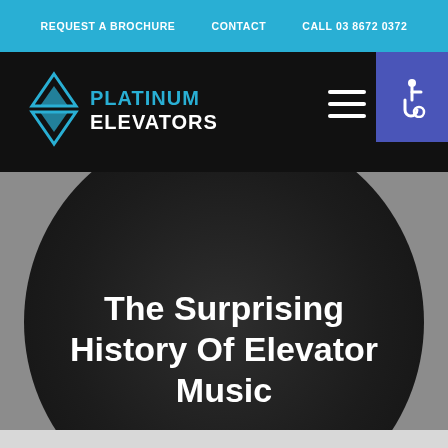REQUEST A BROCHURE | CONTACT | CALL 03 8672 0372
[Figure (logo): Platinum Elevators logo with geometric diamond/triangle icon and text 'PLATINUM ELEVATORS' in blue and white on black background]
[Figure (illustration): Black vinyl record circle on gray background with white text overlay reading 'The Surprising History Of Elevator Music']
The Surprising History Of Elevator Music